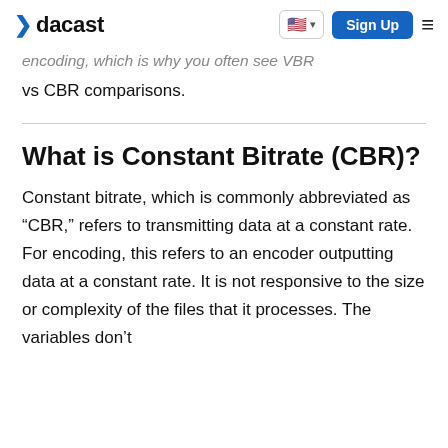dacast | Sign Up
encoding, which is why you often see VBR vs CBR comparisons.
What is Constant Bitrate (CBR)?
Constant bitrate, which is commonly abbreviated as “CBR,” refers to transmitting data at a constant rate. For encoding, this refers to an encoder outputting data at a constant rate. It is not responsive to the size or complexity of the files that it processes. The variables don’t